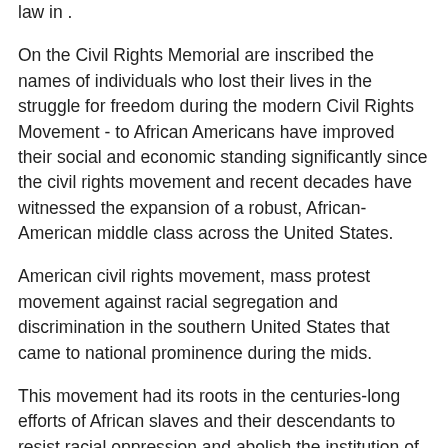law in .
On the Civil Rights Memorial are inscribed the names of individuals who lost their lives in the struggle for freedom during the modern Civil Rights Movement - to African Americans have improved their social and economic standing significantly since the civil rights movement and recent decades have witnessed the expansion of a robust, African-American middle class across the United States.
American civil rights movement, mass protest movement against racial segregation and discrimination in the southern United States that came to national prominence during the mids.
This movement had its roots in the centuries-long efforts of African slaves and their descendants to resist racial oppression and abolish the institution of slavery.
The Subcommittee on African American Affairs (SCAAA) is